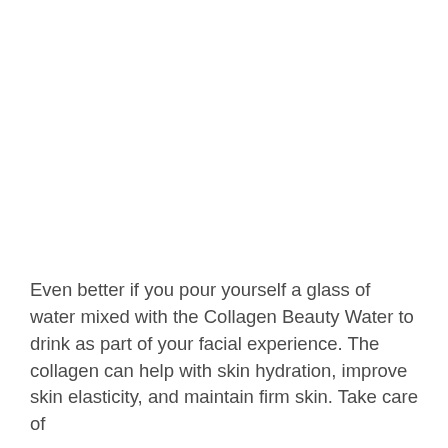Even better if you pour yourself a glass of water mixed with the Collagen Beauty Water to drink as part of your facial experience. The collagen can help with skin hydration, improve skin elasticity, and maintain firm skin. Take care of